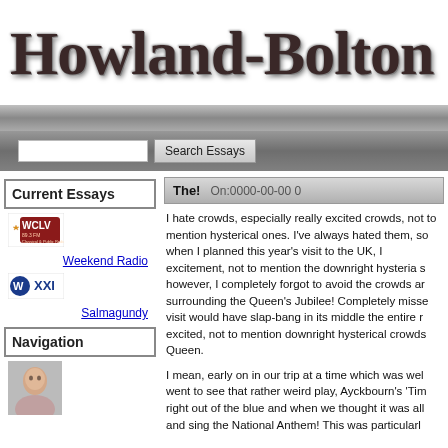Howland-Bolton
[Figure (other): Navigation bar gradient strip]
[Figure (other): Search bar with text input and Search Essays button]
Current Essays
[Figure (logo): WCLV radio logo]
Weekend Radio
[Figure (logo): WXXI radio logo]
Salmagundy
Navigation
[Figure (photo): Person portrait photo thumbnail]
The!
On:0000-00-00 0
I hate crowds, especially really excited crowds, not to mention hysterical ones. I've always hated them, so when I planned this year's visit to the UK, I tried to plan around the crowds and the excitement, not to mention the downright hysteria surrounding such events. I did, however, I completely forgot to avoid the crowds and more importantly the hysteria surrounding the Queen's Jubilee! Completely missed! So there I was, thinking that my planned visit would have slap-bang in its middle the entire run of the Jubilee events with very excited, not to mention downright hysterical crowds all over the place celebrating the Queen.
I mean, early on in our trip at a time which was well before the Jubilee, we went to see that rather weird play, Ayckbourn's 'Tim...' right out of the blue and when we thought it was all... and sing the National Anthem! This was particularl...